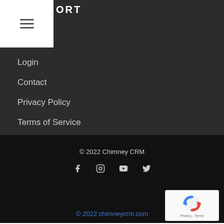ORT
Login
Contact
Privacy Policy
Terms of Service
© 2022 Chimney CRM
[Figure (other): Social media icons: Facebook, Instagram, YouTube, Twitter]
[Figure (other): reCAPTCHA badge with logo and Privacy - Terms text]
© 2022 chimneycrm.com